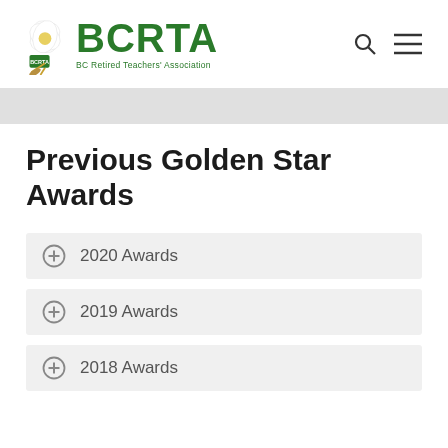[Figure (logo): BCRTA logo with white dogwood flower and green text reading BCRTA and BC Retired Teachers' Association]
Previous Golden Star Awards
2020 Awards
2019 Awards
2018 Awards